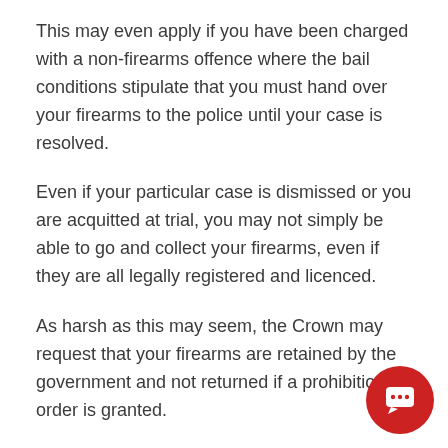This may even apply if you have been charged with a non-firearms offence where the bail conditions stipulate that you must hand over your firearms to the police until your case is resolved.
Even if your particular case is dismissed or you are acquitted at trial, you may not simply be able to go and collect your firearms, even if they are all legally registered and licenced.
As harsh as this may seem, the Crown may request that your firearms are retained by the government and not returned if a prohibition order is granted.
There will then be a firearms hearing at which you present evidence and tell your side of the story.